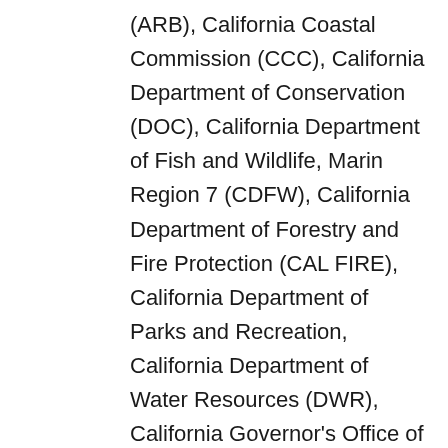(ARB), California Coastal Commission (CCC), California Department of Conservation (DOC), California Department of Fish and Wildlife, Marin Region 7 (CDFW), California Department of Forestry and Fire Protection (CAL FIRE), California Department of Parks and Recreation, California Department of Water Resources (DWR), California Governor's Office of Emergency Services (OES), California Highway Patrol (CHP), California Natural Resources Agency, California Regional Water Quality Control Board, North...